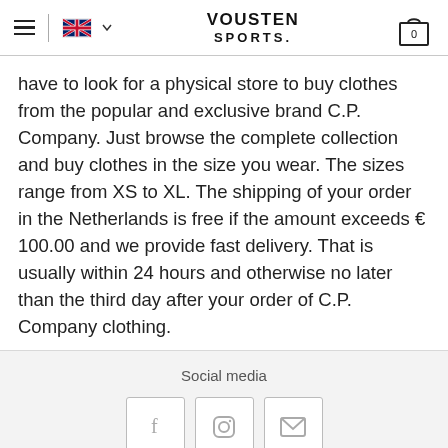VOUSTEN SPORTS. [Navigation header with hamburger menu, UK flag, brand logo, and shopping cart showing 0]
have to look for a physical store to buy clothes from the popular and exclusive brand C.P. Company. Just browse the complete collection and buy clothes in the size you wear. The sizes range from XS to XL. The shipping of your order in the Netherlands is free if the amount exceeds € 100.00 and we provide fast delivery. That is usually within 24 hours and otherwise no later than the third day after your order of C.P. Company clothing.
Social media
[Figure (other): Three social media icon boxes: Facebook (f), Instagram (circle with square), and email (envelope icon)]